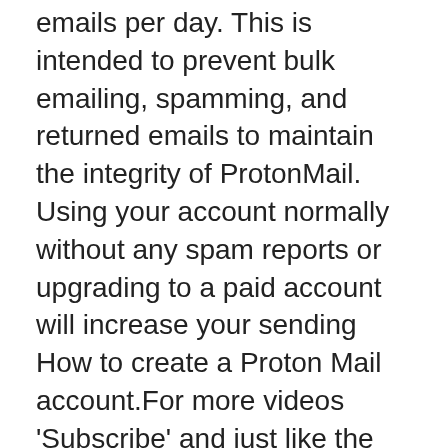emails per day. This is intended to prevent bulk emailing, spamming, and returned emails to maintain the integrity of ProtonMail. Using your account normally without any spam reports or upgrading to a paid account will increase your sending How to create a Proton Mail account.For more videos 'Subscribe' and just like the video. Sign up for a free ProtonMail account https://go.getproton.me/aff_c?offer_id=25&aff_id=2033&url_id=120  Features:Swiss Privacy, End-to-End Encryption ,Anony At this time, you need to have a paid ProtonMail account and access the beta version of the product to use some of the newest features, such as their new encrypted Calendar.
When choosing one, you want to look for a few